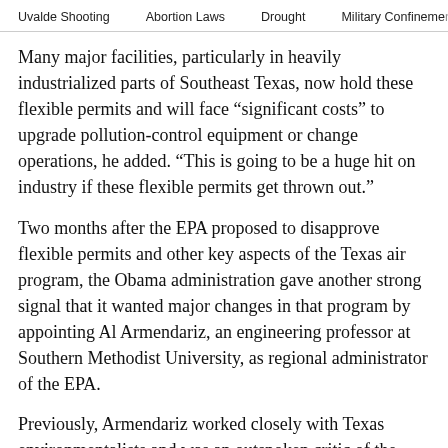Uvalde Shooting   Abortion Laws   Drought   Military Confinement
Many major facilities, particularly in heavily industrialized parts of Southeast Texas, now hold these flexible permits and will face “significant costs” to upgrade pollution-control equipment or change operations, he added. “This is going to be a huge hit on industry if these flexible permits get thrown out.”
Two months after the EPA proposed to disapprove flexible permits and other key aspects of the Texas air program, the Obama administration gave another strong signal that it wanted major changes in that program by appointing Al Armendariz, an engineering professor at Southern Methodist University, as regional administrator of the EPA.
Previously, Armendariz worked closely with Texas environmentalists and was an outspoken critic of the state’s regulation of air pollution. “Texas has allowed…